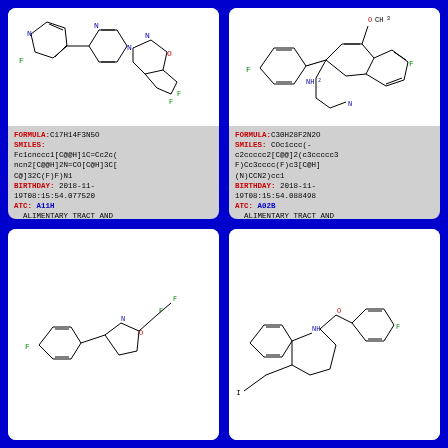[Figure (schematic): Chemical structure of C17H14F3N5O compound (top-left card)]
FORMULA: C17H14F3N5O
SMILES: Fc1cnccc1[C@@H]1C=Cc2c(ncn2[C@@H]2N=CO[C@H]3C[C@]32C(F)F)N1
BIRTHDAY: 2018-11-19T08:15:54.077520
ATC: A11H
  ALIMENTARY TRACT AND METABOLISM
  VITAMINS
  OTHER PLAIN VITAMIN PREPARATIONS
Synthesis Plan
[Figure (schematic): Chemical structure of C30H28F2N2O compound (top-right card)]
FORMULA: C30H28F2N2O
SMILES: COc1ccc(-c2ccccc2[C@@]2(c3ccccc3F)Cc3cccc(F)c3[C@H](N)CCN2)cc1
BIRTHDAY: 2018-11-19T08:15:54.088498
ATC: A02B
  ALIMENTARY TRACT AND METABOLISM
  DRUGS FOR ACID RELATED DISORDERS
  DRUGS FOR PEPTIC ULCER AND GASTRO-OESOPHAGEAL REFLUX DISEASE (GORD)
Synthesis Plan
[Figure (schematic): Chemical structure molecule (bottom-left card)]
[Figure (schematic): Chemical structure molecule (bottom-right card)]